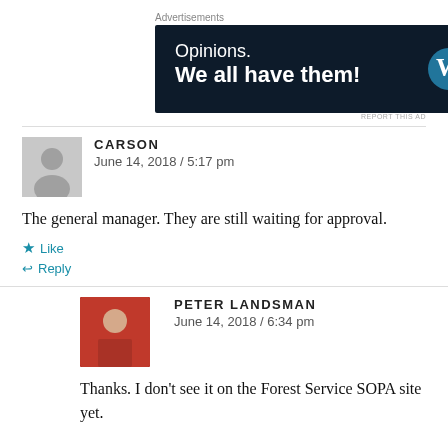[Figure (other): Advertisement banner: dark navy background with text 'Opinions. We all have them!' and WordPress and FreshWave logos on the right]
CARSON
June 14, 2018 / 5:17 pm
The general manager. They are still waiting for approval.
★ Like
↩ Reply
PETER LANDSMAN
June 14, 2018 / 6:34 pm
Thanks. I don't see it on the Forest Service SOPA site yet.